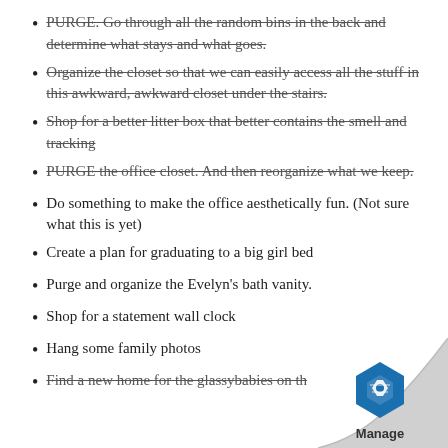PURGE. Go through all the random bins in the back and determine what stays and what goes. [strikethrough]
Organize the closet so that we can easily access all the stuff in this awkward, awkward closet under the stairs. [strikethrough]
Shop for a better litter box that better contains the smell and tracking [strikethrough]
PURGE the office closet. And then reorganize what we keep. [strikethrough]
Do something to make the office aesthetically fun. (Not sure what this is yet)
Create a plan for graduating to a big girl bed
Purge and organize the Evelyn's bath vanity.
Shop for a statement wall clock
Hang some family photos
Find a new home for the glassybabies on th [strikethrough]
[Figure (logo): Page curl watermark with blue hexagon 'Manage' logo in bottom-right corner]